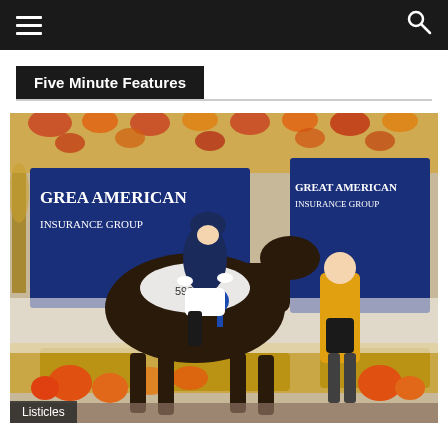Navigation bar with hamburger menu and search icon
Five Minute Features
[Figure (photo): A dressage rider on a dark horse wearing number 598, posing with a blue ribbon at the Great American Insurance Group championship. A woman in a yellow floral top stands beside them holding a trophy. The venue is decorated with fall flowers, pumpkins, hay bales, and autumn foliage.]
Listicles